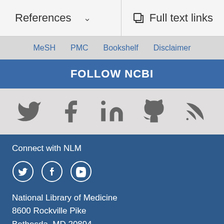References | Full text links
MeSH  PMC  Bookshelf  Disclaimer
FOLLOW NCBI
[Figure (illustration): Social media icons: Twitter, Facebook, LinkedIn, GitHub, RSS feed]
Connect with NLM
[Figure (illustration): Footer social icons: Twitter, Facebook, YouTube (circled)]
National Library of Medicine
8600 Rockville Pike
Bethesda, MD 20894
Web Policies
FOIA